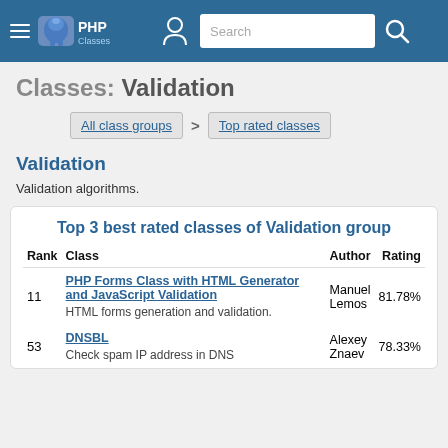PHP Classes — Search
Classes: Validation
All class groups > Top rated classes
Validation
Validation algorithms.
Top 3 best rated classes of Validation group
| Rank | Class | Author | Rating |
| --- | --- | --- | --- |
| 11 | PHP Forms Class with HTML Generator and JavaScript Validation
HTML forms generation and validation. | Manuel Lemos | 81.78% |
| 53 | DNSBL
Check spam IP address in DNS | Alexey Znaev | 78.33% |